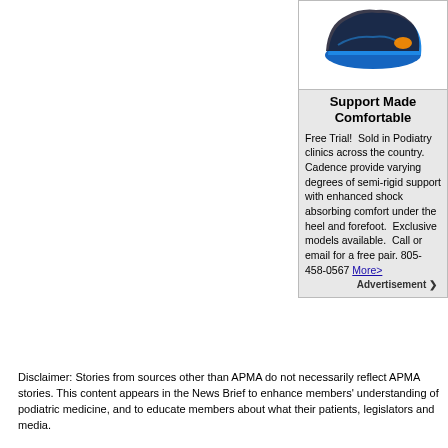[Figure (photo): Shoe insoles — a blue orthotic insole with a dark top section, viewed from above at an angle, showing heel and arch support]
Support Made Comfortable
Free Trial!  Sold in Podiatry clinics across the country.  Cadence provide varying degrees of semi-rigid support with enhanced shock absorbing comfort under the heel and forefoot.  Exclusive models available.  Call or email for a free pair. 805-458-0567 More>
Advertisement
Disclaimer: Stories from sources other than APMA do not necessarily reflect APMA stories. This content appears in the News Brief to enhance members' understanding of podiatric medicine, and to educate members about what their patients, legislators and media.